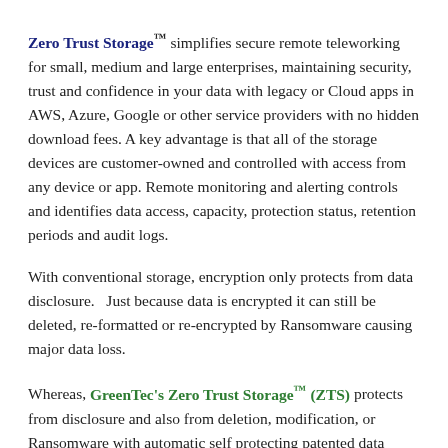Zero Trust Storage™ simplifies secure remote teleworking for small, medium and large enterprises, maintaining security, trust and confidence in your data with legacy or Cloud apps in AWS, Azure, Google or other service providers with no hidden download fees. A key advantage is that all of the storage devices are customer-owned and controlled with access from any device or app. Remote monitoring and alerting controls and identifies data access, capacity, protection status, retention periods and audit logs.
With conventional storage, encryption only protects from data disclosure.   Just because data is encrypted it can still be deleted, re-formatted or re-encrypted by Ransomware causing major data loss.
Whereas, GreenTec's Zero Trust Storage™ (ZTS) protects from disclosure and also from deletion, modification, or Ransomware with automatic self protecting patented data technologies, and are the secure storage